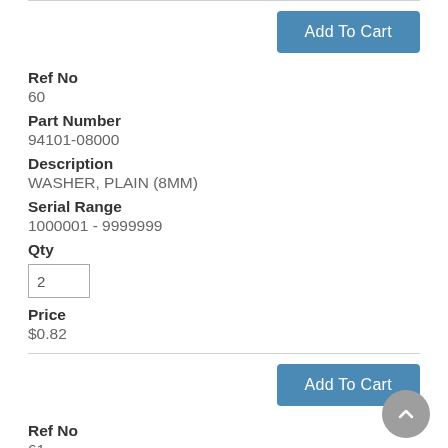Add To Cart
Ref No
60
Part Number
94101-08000
Description
WASHER, PLAIN (8MM)
Serial Range
1000001 - 9999999
Qty
2
Price
$0.82
Add To Cart
Ref No
61
Part Number